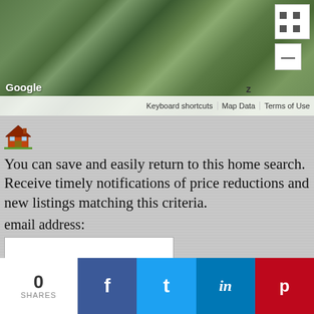[Figure (screenshot): Google Maps aerial/satellite view of a residential neighborhood showing houses, roads, and green areas. Map controls visible in top right. Google branding, keyboard shortcuts, Map Data, and Terms of Use shown at bottom.]
[Figure (illustration): House icon (cartoon-style home)]
You can save and easily return to this home search. Receive timely notifications of price reductions and new listings matching this criteria.
email address:
[Figure (screenshot): Email input field (blank white text box)]
[Figure (screenshot): Sign-Up/Login button]
[Figure (screenshot): reCAPTCHA widget with checkbox, 'I'm not a robot' label, reCAPTCHA logo, Privacy and Terms links]
go to page:
[Figure (screenshot): Social share bar with 0 SHARES count, Facebook, Twitter, LinkedIn, and Pinterest buttons]